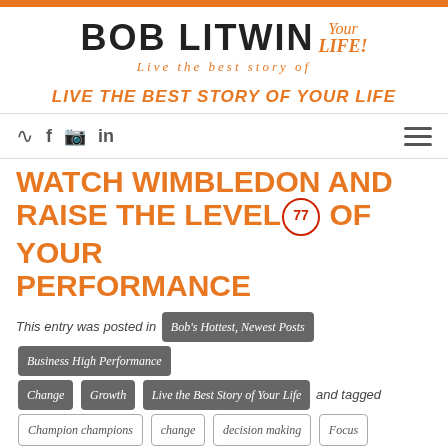[Figure (logo): Bob Litwin 'Your LIFE! Live the best story of' logo with orange accent text]
LIVE THE BEST STORY OF YOUR LIFE
[Figure (infographic): Navigation bar with RSS, Facebook, Instagram, LinkedIn icons and hamburger menu]
WATCH WIMBLEDON AND RAISE THE LEVEL OF YOUR PERFORMANCE
This entry was posted in Bob's Hottest, Newest Posts | Business High Performance | Change | Growth | Live the Best Story of Your Life and tagged Champion champions | change | decision making | Focus | Growth | Life lessons | mental training | Wimbledon on 06/28/2016 by Bob Litwin
We can become better versions of ourselves by watching elite athletes under pressure.